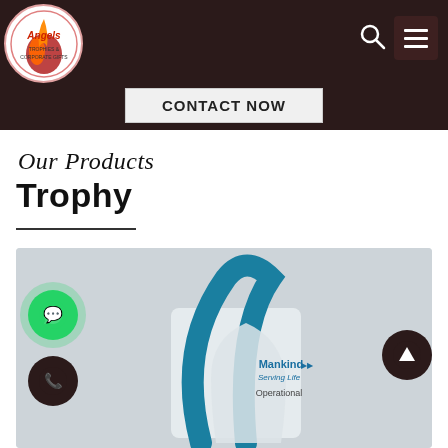Angels Trophies & Corporate Gifts - CONTACT NOW
Our Products
Trophy
[Figure (photo): A glass/acrylic trophy with a curved blue/teal arc design. The trophy has a 'Mankind Serving Life' branding with the text 'Operational' visible at the bottom. Two floating action buttons (WhatsApp and phone) are visible on the left, and an up-arrow button on the right.]